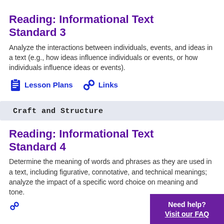Reading: Informational Text Standard 3
Analyze the interactions between individuals, events, and ideas in a text (e.g., how ideas influence individuals or events, or how individuals influence ideas or events).
Lesson Plans
Links
Craft and Structure
Reading: Informational Text Standard 4
Determine the meaning of words and phrases as they are used in a text, including figurative, connotative, and technical meanings; analyze the impact of a specific word choice on meaning and tone.
Need help? Visit our FAQ